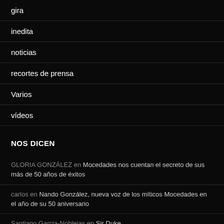gira
inedita
noticias
recortes de prensa
Varios
vídeos
NOS DICEN
GLORIA GONZÁLEZ en Mocedades nos cuentan el secreto de sus más de 50 años de éxitos
carlos en Nando González, nueva voz de los míticos Mocedades en el año de su 50 aniversario
Santiago Garcia-Noblejas en Sir Duke